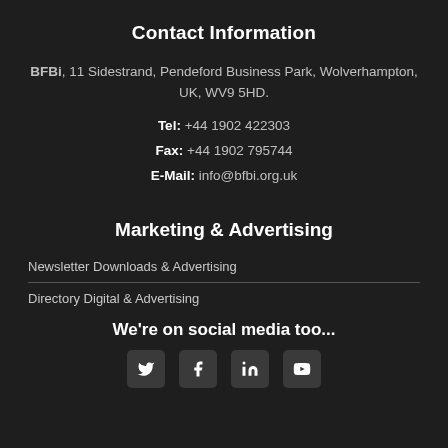Contact Information
BFBi, 11 Sidestrand, Pendeford Business Park, Wolverhampton, UK, WV9 5HD.
Tel: +44 1902 422303
Fax: +44 1902 795744
E-Mail: info@bfbi.org.uk
Marketing & Advertising
Newsletter Downloads & Advertising
Directory Digital & Advertising
We're on social media too...
[Figure (other): Four social media icon buttons: Twitter, Facebook, LinkedIn, YouTube]